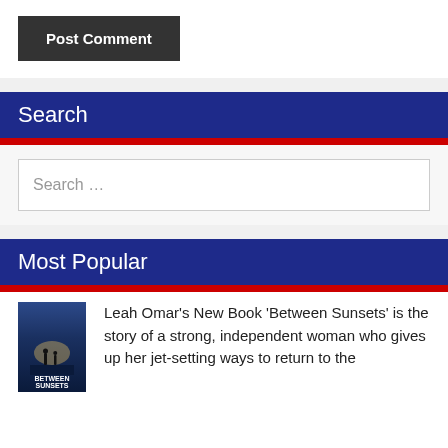Post Comment
Search
Search …
Most Popular
Leah Omar's New Book 'Between Sunsets' is the story of a strong, independent woman who gives up her jet-setting ways to return to the